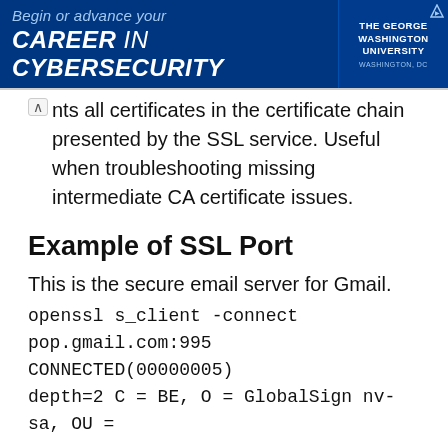[Figure (illustration): Advertisement banner for The George Washington University cybersecurity program. Blue background with text 'Begin or advance your CAREER in CYBERSECURITY' and university logo on the right side.]
...nts all certificates in the certificate chain presented by the SSL service. Useful when troubleshooting missing intermediate CA certificate issues.
Example of SSL Port
This is the secure email server for Gmail.
openssl s_client -connect pop.gmail.com:995 CONNECTED(00000005) depth=2 C = BE, O = GlobalSign nv-sa, OU =